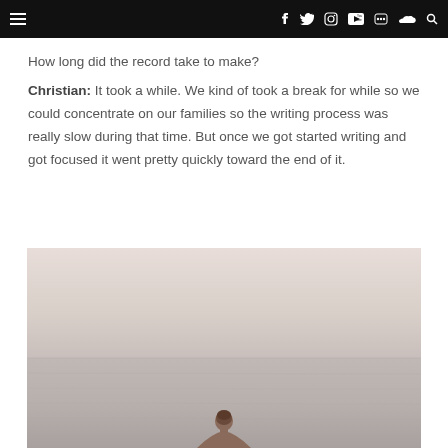Navigation bar with menu, social icons (Facebook, Twitter, Instagram, YouTube, Flickr, SoundCloud), and search
How long did the record take to make?
Christian: It took a while. We kind of took a break for while so we could concentrate on our families so the writing process was really slow during that time. But once we got started writing and got focused it went pretty quickly toward the end of it.
[Figure (photo): Person seen from behind, standing in calm water with a hazy, pale pink and grey sky and horizon in the background]